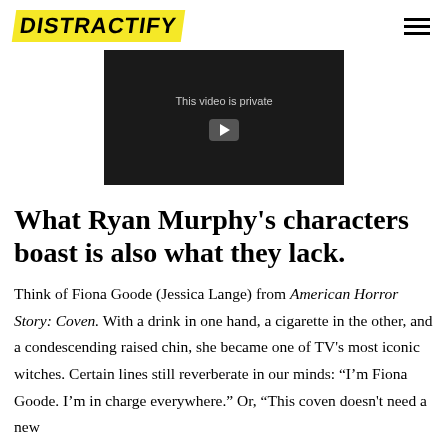DISTRACTIFY
[Figure (screenshot): Embedded video player showing 'This video is private' message with a play button on dark background]
What Ryan Murphy's characters boast is also what they lack.
Think of Fiona Goode (Jessica Lange) from American Horror Story: Coven. With a drink in one hand, a cigarette in the other, and a condescending raised chin, she became one of TV's most iconic witches. Certain lines still reverberate in our minds: “I’m Fiona Goode. I’m in charge everywhere.” Or, “This coven doesn’t need a new